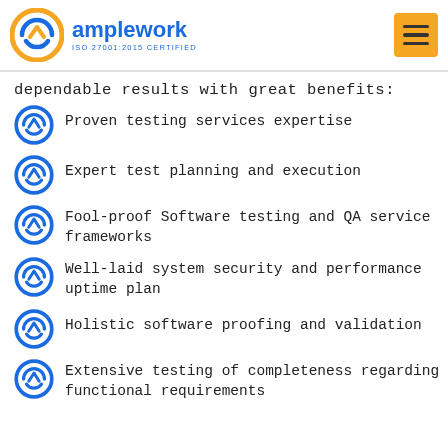amplework ISO 27001:2015 CERTIFIED
dependable results with great benefits:
Proven testing services expertise
Expert test planning and execution
Fool-proof Software testing and QA service frameworks
Well-laid system security and performance uptime plan
Holistic software proofing and validation
Extensive testing of completeness regarding functional requirements